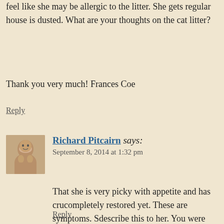feel like she may be allergic to the litter. She gets regular... house is dusted. What are your thoughts on the cat litter?
Thank you very much! Frances Coe
Reply
Richard Pitcairn says:
September 8, 2014 at 1:32 pm
That she is very picky with appetite and has cru... completely restored yet. These are symptoms. S... describe this to her. You were smart to check on the soy. I don't kno... making non-GMO lecithin though I am hoping n... using sunflower instead but it sounds nice. I always used a clay litter, but I am not very kno... doubt, however, the litter is the problem.
Reply